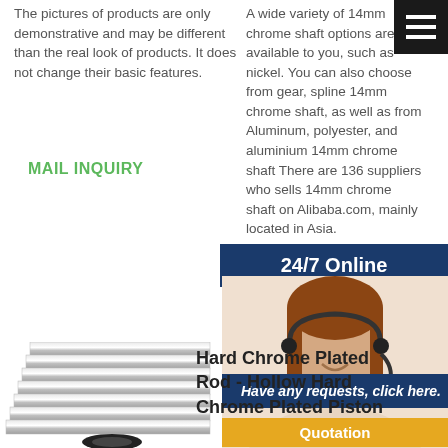The pictures of products are only demonstrative and may be different than the real look of products. It does not change their basic features.
MAIL INQUIRY
[Figure (other): Hamburger menu icon (three white lines on dark background) in top right corner]
A wide variety of 14mm chrome shaft options are available to you, such as nickel. You can also choose from gear, spline 14mm chrome shaft, as well as from Aluminum, polyester, and aluminium 14mm chrome shaft There are 136 suppliers who sells 14mm chrome shaft on Alibaba.com, mainly located in Asia.
MAIL INQUIRY
[Figure (other): 24/7 Online banner with blue background and white bold text]
[Figure (photo): Woman with headset smiling, customer service operator photo]
Have any requests, click here.
Quotation
[Figure (photo): Hard chrome plated rod / hollow hard chrome plated piston product image showing stacked metallic rods]
Hard Chrome Plated Rod - Hollow Hard Chrome Plated Piston